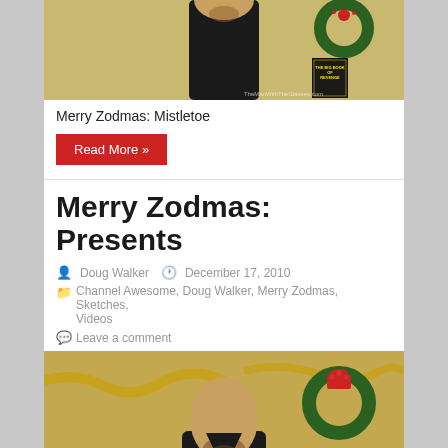[Figure (photo): Top portion of a photo showing a man in a black outfit against a gold/tan background with Christmas wreaths. A book titled 'The Big Book of Revenge' is visible. Watermark reads TheManWithTheGlasses.com]
Merry Zodmas: Mistletoe
Read More »
Merry Zodmas: Presents
Doug Walker   December 17, 2010
Channel Awesome, Doug Walker, Merry Zodmas, Sketches, Videos
Leave a comment
[Figure (photo): Bottom portion showing a man with a beard in a black outfit against a gold background with Christmas wreaths and gold garland. A book titled 'The Big Book of Revenge' is visible at bottom right.]